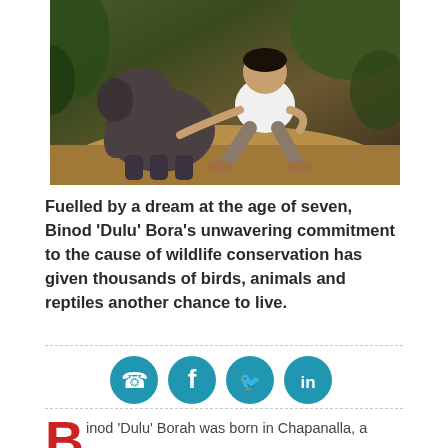[Figure (photo): A man in a white t-shirt crouching next to a small baby elephant on a dirt path at night, with green foliage in the background.]
Fuelled by a dream at the age of seven, Binod 'Dulu' Bora's unwavering commitment to the cause of wildlife conservation has given thousands of birds, animals and reptiles another chance to live.
[Figure (infographic): Social sharing icons: WhatsApp, Facebook, Twitter, LinkedIn — all in blue circles.]
Binod 'Dulu' Borah was born in Chapanalla, a